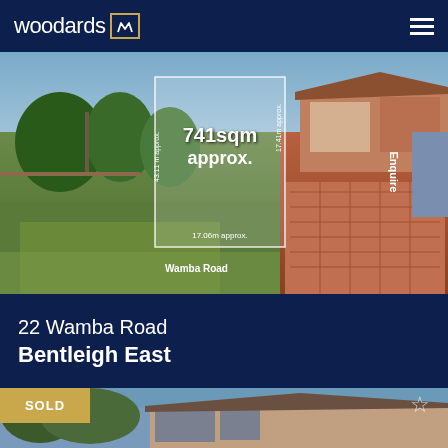woodards
[Figure (photo): Aerial/ground view of a property at 22 Wamba Road Bentleigh East showing a grassy yard and brick house. Overlay shows dimensions: 741sqm approx., 17.06m approx., 43.11m approx. Road label: Wamba Road]
22 Wamba Road
Bentleigh East
4 bedrooms, 2 bathrooms, 4 car spaces
[Figure (photo): Exterior photo of a sold brick home. SOLD badge visible.]